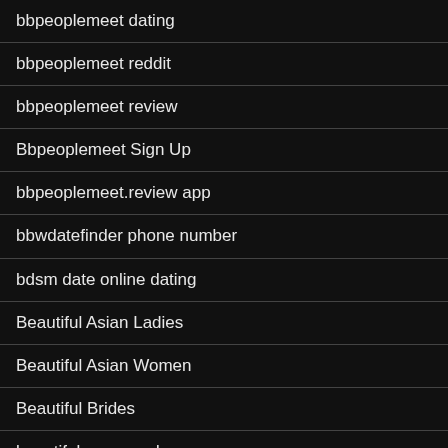bbpeoplemeet dating
bbpeoplemeet reddit
bbpeoplemeet review
Bbpeoplemeet Sign Up
bbpeoplemeet.review app
bbwdatefinder phone number
bdsm date online dating
Beautiful Asian Ladies
Beautiful Asian Women
Beautiful Brides
beautiful cape verdean women
beautiful colombian women
Beautiful Foreign Women